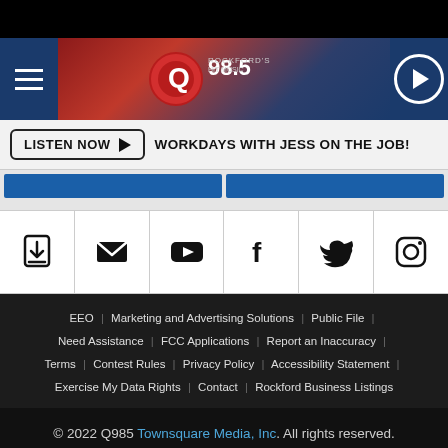[Figure (screenshot): Q98.5 radio station header banner with hamburger menu, station logo, and play button]
LISTEN NOW ▶  WORKDAYS WITH JESS ON THE JOB!
[Figure (infographic): Social media icons row: app download, email, YouTube, Facebook, Twitter, Instagram]
EEO | Marketing and Advertising Solutions | Public File | Need Assistance | FCC Applications | Report an Inaccuracy | Terms | Contest Rules | Privacy Policy | Accessibility Statement | Exercise My Data Rights | Contact | Rockford Business Listings
© 2022 Q985 Townsquare Media, Inc. All rights reserved.